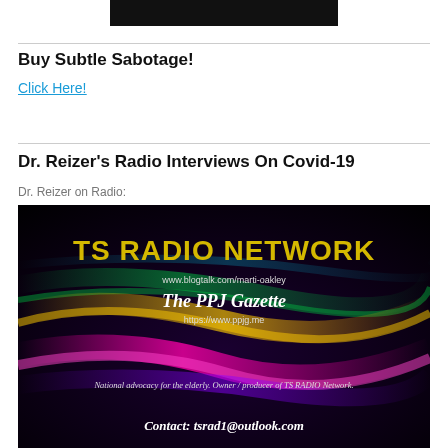[Figure (other): Dark rectangular image/banner at the top center]
Buy Subtle Sabotage!
Click Here!
Dr. Reizer's Radio Interviews On Covid-19
Dr. Reizer on Radio:
[Figure (photo): TS Radio Network banner image with colorful light streaks on black background. Text: TS RADIO NETWORK, www.blogtalk.com/marti-oakley, The PPJ Gazette, https://www.ppjg.me, National advocacy for the elderly. Owner / producer of TS RADIO Network., Contact: tsrad1@outlook.com]